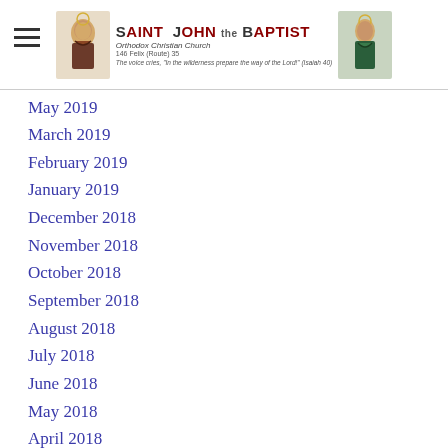[Figure (logo): Saint John the Baptist Orthodox Christian Church logo with two religious icons and church name, subtitle, address, and motto]
May 2019
March 2019
February 2019
January 2019
December 2018
November 2018
October 2018
September 2018
August 2018
July 2018
June 2018
May 2018
April 2018
March 2018
February 2018
January 2018
December 2017
November 2017